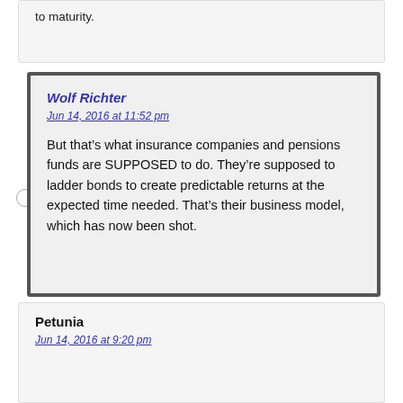to maturity.
Wolf Richter
Jun 14, 2016 at 11:52 pm

But that’s what insurance companies and pensions funds are SUPPOSED to do. They’re supposed to ladder bonds to create predictable returns at the expected time needed. That’s their business model, which has now been shot.
Petunia
Jun 14, 2016 at 9:20 pm